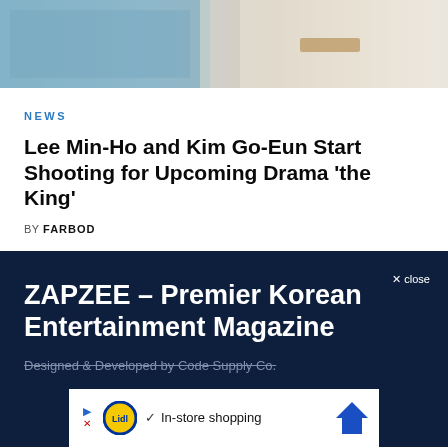[Figure (photo): Partial photo showing two people, one in blue/grey tones and one in white/cream outfit, cropped at top of page]
NEWS
Lee Min-Ho and Kim Go-Eun Start Shooting for Upcoming Drama ‘the King’
BY FARBOD
ZAPZEE – Premier Korean Entertainment Magazine
Designed & Developed by Code Supply Co.
[Figure (screenshot): Lidl advertisement banner: play icon, Lidl logo, checkmark, 'In-store shopping' text, blue arrow navigation icon]